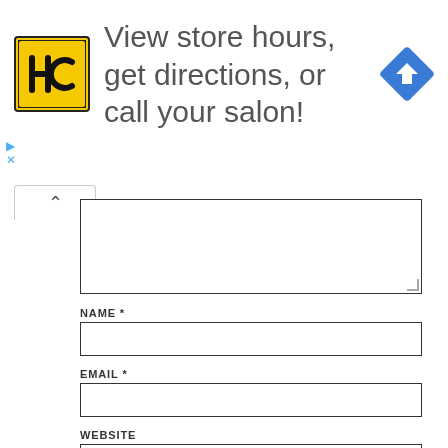[Figure (advertisement): Advertisement banner with HC logo (yellow square with HC text), text 'View store hours, get directions, or call your salon!', and a blue diamond navigation icon. Small play and close (X) controls on the left side.]
NAME *
EMAIL *
WEBSITE
SAVE MY NAME, EMAIL, AND WEBSITE IN THIS BROWSER